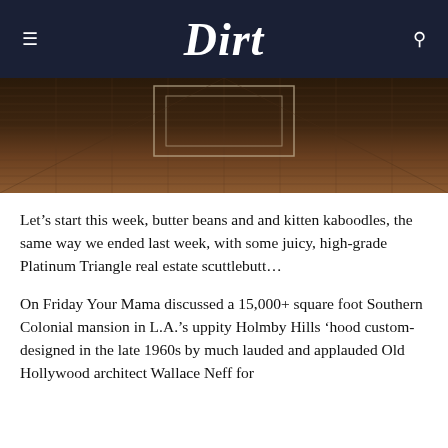Dirt
[Figure (photo): Close-up overhead view of an ornate wooden floor with geometric inlaid pattern, showing parquet or hardwood flooring with rectangular and octagonal designs.]
Let’s start this week, butter beans and and kitten kaboodles, the same way we ended last week, with some juicy, high-grade Platinum Triangle real estate scuttlebutt…
On Friday Your Mama discussed a 15,000+ square foot Southern Colonial mansion in L.A.’s uppity Holmby Hills ‘hood custom-designed in the late 1960s by much lauded and applauded Old Hollywood architect Wallace Neff for